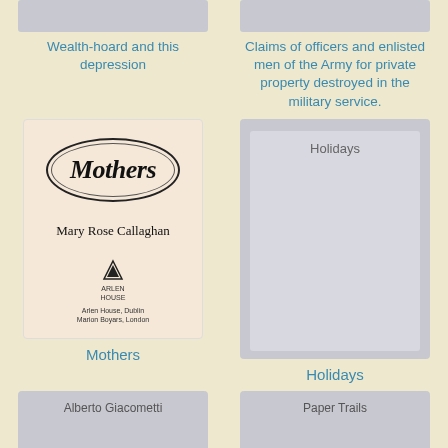[Figure (illustration): Partial book cover placeholder (top-cropped) for Wealth-hoard and this depression]
Wealth-hoard and this depression
[Figure (illustration): Partial book cover placeholder (top-cropped) for Claims of officers and enlisted men of the Army for private property destroyed in the military service.]
Claims of officers and enlisted men of the Army for private property destroyed in the military service.
[Figure (photo): Book cover of 'Mothers' by Mary Rose Callaghan, published by Arlen House, Dublin / Marion Boyars, London. Cream/beige cover with oval design and bold italic title.]
Mothers
[Figure (illustration): Book cover placeholder for 'Holidays']
Holidays
[Figure (illustration): Book cover placeholder for 'Alberto Giacometti' (partial, bottom of page)]
[Figure (illustration): Book cover placeholder for 'Paper Trails' (partial, bottom of page)]